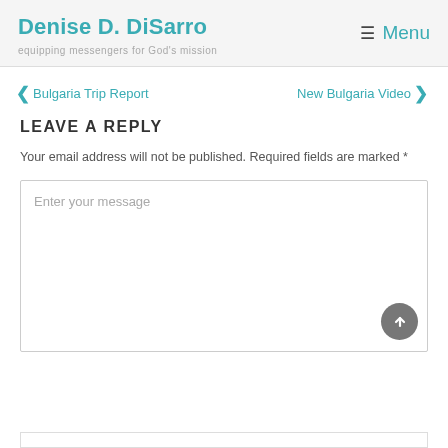Denise D. DiSarro — equipping messengers for God's mission
< Bulgaria Trip Report    New Bulgaria Video >
LEAVE A REPLY
Your email address will not be published. Required fields are marked *
Enter your message